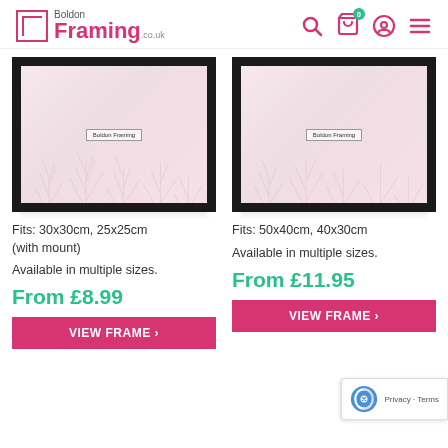Boldon Framing .co.uk
[Figure (photo): Black square photo frame with pink floral/tree pattern placeholder image and Boldon Framing watermark]
Fits: 30x30cm, 25x25cm (with mount)
Available in multiple sizes.
From £8.99
VIEW FRAME
[Figure (photo): Black square photo frame with pink floral/tree pattern placeholder image and Boldon Framing watermark]
Fits: 50x40cm, 40x30cm
Available in multiple sizes.
From £11.95
VIEW FRAME